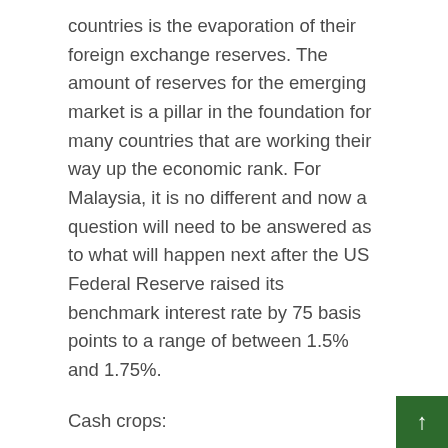countries is the evaporation of their foreign exchange reserves. The amount of reserves for the emerging market is a pillar in the foundation for many countries that are working their way up the economic rank. For Malaysia, it is no different and now a question will need to be answered as to what will happen next after the US Federal Reserve raised its benchmark interest rate by 75 basis points to a range of between 1.5% and 1.75%.
Cash crops:
AMID inflation and soaring food prices, more planters will likely opt for integrated farming ventures. Intercropping oil palm, with other cash crops such as pineapples and bananas, has been proven to be a raving success for some big plantation companies.
United Plantations Bhd, for over two decades, have